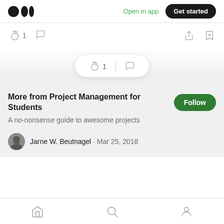Medium logo | Open in app | Get started
[Figure (screenshot): Action bar with clap (1), comment, share, and bookmark icons]
[Figure (screenshot): Floating pill with clap (1) and comment icon]
More from Project Management for Students
A no-nonsense guide to awesome projects
Jarne W. Beutnagel · Mar 25, 2018
Home | Search | Profile icons